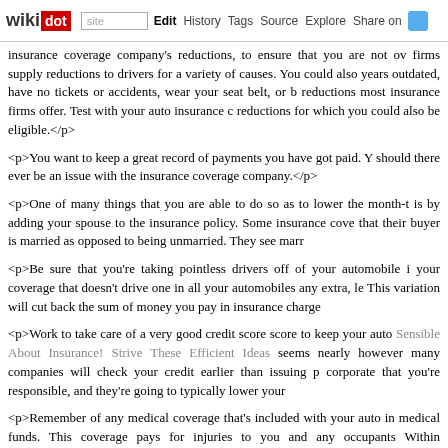wikidot | site | Edit | History | Tags | Source | Explore | Share on Twitter
insurance coverage company's reductions, to ensure that you are not ov firms supply reductions to drivers for a variety of causes. You could also years outdated, have no tickets or accidents, wear your seat belt, or b reductions most insurance firms offer. Test with your auto insurance c reductions for which you could also be eligible.</p>
<p>You want to keep a great record of payments you have got paid. Y should there ever be an issue with the insurance coverage company.</p>
<p>One of many things that you are able to do so as to lower the month-t is by adding your spouse to the insurance policy. Some insurance cove that their buyer is married as opposed to being unmarried. They see marr
<p>Be sure that you're taking pointless drivers off of your automobile i your coverage that doesn't drive one in all your automobiles any extra, le This variation will cut back the sum of money you pay in insurance charge
<p>Work to take care of a very good credit score score to keep your auto Sensible About Insurance! Strive These Efficient Ideas seems nearly however many companies will check your credit earlier than issuing p corporate that you're responsible, and they're going to typically lower your
<p>Remember of any medical coverage that's included with your auto in medical funds. This coverage pays for injuries to you and any occupants Within the&quot;no-fault&quot; states, private injury protection will excha protection.</p>
<p>In conclusion, auto insurance coverage is a vital software for all driv covering prices. There are various issues to remember when purch